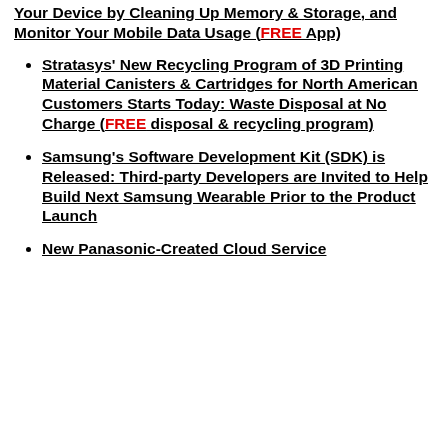Your Device by Cleaning Up Memory & Storage, and Monitor Your Mobile Data Usage (FREE App)
Stratasys' New Recycling Program of 3D Printing Material Canisters & Cartridges for North American Customers Starts Today: Waste Disposal at No Charge (FREE disposal & recycling program)
Samsung's Software Development Kit (SDK) is Released: Third-party Developers are Invited to Help Build Next Samsung Wearable Prior to the Product Launch
New Panasonic-Created Cloud Service